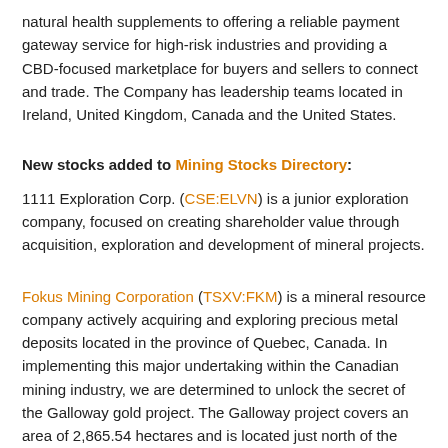natural health supplements to offering a reliable payment gateway service for high-risk industries and providing a CBD-focused marketplace for buyers and sellers to connect and trade. The Company has leadership teams located in Ireland, United Kingdom, Canada and the United States.
New stocks added to Mining Stocks Directory:
1111 Exploration Corp. (CSE:ELVN) is a junior exploration company, focused on creating shareholder value through acquisition, exploration and development of mineral projects.
Fokus Mining Corporation (TSXV:FKM) is a mineral resource company actively acquiring and exploring precious metal deposits located in the province of Quebec, Canada. In implementing this major undertaking within the Canadian mining industry, we are determined to unlock the secret of the Galloway gold project. The Galloway project covers an area of 2,865.54 hectares and is located just north of the Cadillac-Larder Lake deformation which extends laterally for more than 100 km.